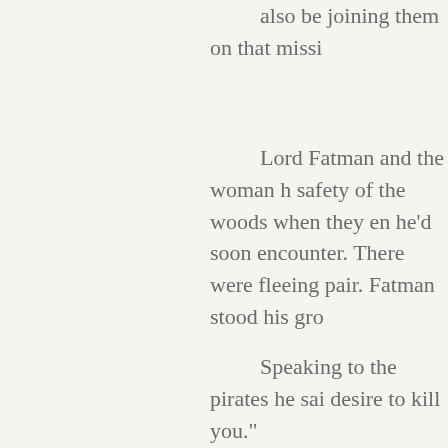also be joining them on that missi...
Lord Fatman and the woman h... safety of the woods when they en... he'd soon encounter. There were ... fleeing pair. Fatman stood his gro...
Speaking to the pirates he sai... desire to kill you."
One of the pirates snorted at t... all. He pulled his sword and died o... sharp. It decapitated the man whe...
Instantly, the other four moved... with arrows in their backs. Fatma... arrow took the remaining pirate.
From out of the darkness a vo...
"Yes, I am Lord Fatman," he re...
From out of the darkness Vla...